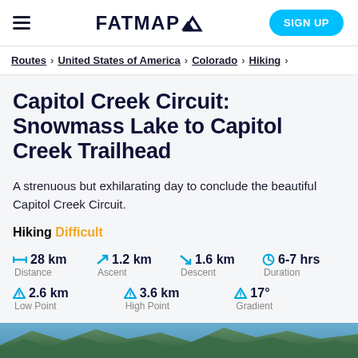FATMAP [logo with mountain icon] — SIGN UP
Routes > United States of America > Colorado > Hiking
Capitol Creek Circuit: Snowmass Lake to Capitol Creek Trailhead
A strenuous but exhilarating day to conclude the beautiful Capitol Creek Circuit.
Hiking Difficult
28 km Distance | 1.2 km Ascent | 1.6 km Descent | 6-7 hrs Duration
2.6 km Low Point | 3.6 km High Point | 17° Gradient
[Figure (photo): Landscape photo at the bottom edge of the page, showing green mountain terrain]